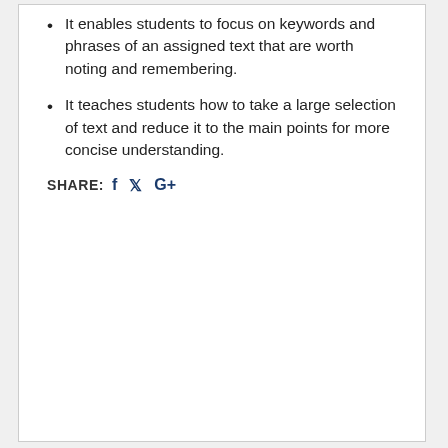It enables students to focus on keywords and phrases of an assigned text that are worth noting and remembering.
It teaches students how to take a large selection of text and reduce it to the main points for more concise understanding.
SHARE:  f  y  G+